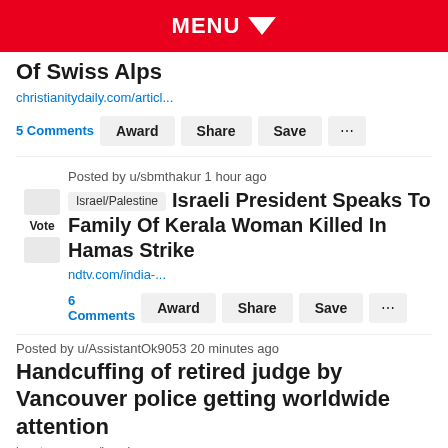MENU
Of Swiss Alps
christianitydaily.com/articl...
5 Comments  Award  Share  Save
Posted by u/sbmthakur 1 hour ago
Israel/Palestine  Israeli President Speaks To Family Of Kerala Woman Killed In Hamas Strike
ndtv.com/india-...
6 Comments  Award  Share  Save
Posted by u/AssistantOk9053 20 minutes ago
Handcuffing of retired judge by Vancouver police getting worldwide attention
bc.ctvnews.ca/handcu...